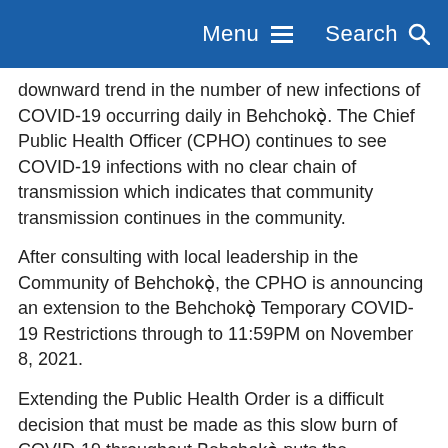Menu  Search
downward trend in the number of new infections of COVID-19 occurring daily in Behchokǫ̀. The Chief Public Health Officer (CPHO) continues to see COVID-19 infections with no clear chain of transmission which indicates that community transmission continues in the community.
After consulting with local leadership in the Community of Behchokǫ̀, the CPHO is announcing an extension to the Behchokǫ̀ Temporary COVID-19 Restrictions through to 11:59PM on November 8, 2021.
Extending the Public Health Order is a difficult decision that must be made as this slow burn of COVID-19 throughout Behchokǫ̀ puts the surrounding communities at significant risk of importation and sparking further outbreaks.
Persons may direct inquiries about public health orders to ProtectNWT at protectNWT@gov.nt.ca or call 8-1-1 (in the Northwest Territories) or 1-833-378-8297. Full details and